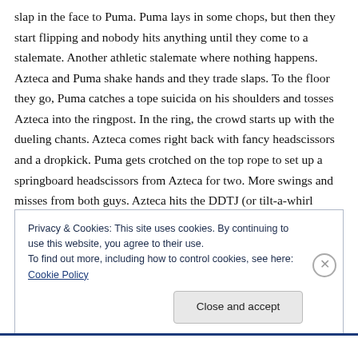slap in the face to Puma. Puma lays in some chops, but then they start flipping and nobody hits anything until they come to a stalemate. Another athletic stalemate where nothing happens. Azteca and Puma shake hands and they trade slaps. To the floor they go, Puma catches a tope suicida on his shoulders and tosses Azteca into the ringpost. In the ring, the crowd starts up with the dueling chants. Azteca comes right back with fancy headscissors and a dropkick. Puma gets crotched on the top rope to set up a springboard headscissors from Azteca for two. More swings and misses from both guys. Azteca hits the DDTJ (or tilt-a-whirl DDT) for 1-2-NO! Puma fires back with a Blue Thunder Bomb
Privacy & Cookies: This site uses cookies. By continuing to use this website, you agree to their use.
To find out more, including how to control cookies, see here: Cookie Policy